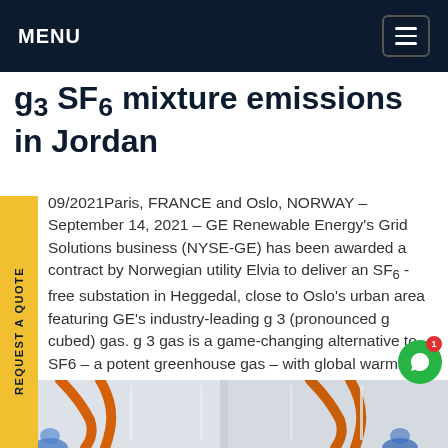MENU
g3 SF6 mixture emissions in Jordan
09/2021Paris, FRANCE and Oslo, NORWAY - September 14, 2021 - GE Renewable Energy's Grid Solutions business (NYSE-GE) has been awarded a contract by Norwegian utility Elvia to deliver an SF6-free substation in Heggedal, close to Oslo's urban area featuring GE's industry-leading g 3 (pronounced g cubed) gas. g 3 gas is a game-changing alternative to SF6 - a potent greenhouse gas - with global warming potential (GWP) that is about 99% compared to SF6 1.Get price
[Figure (photo): Photo of electrical substation equipment showing orange-colored conductors/busbars on white insulation, likely the SF6-free substation components]